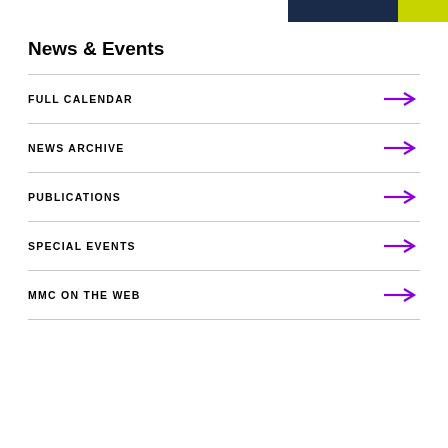News & Events
FULL CALENDAR
NEWS ARCHIVE
PUBLICATIONS
SPECIAL EVENTS
MMC ON THE WEB